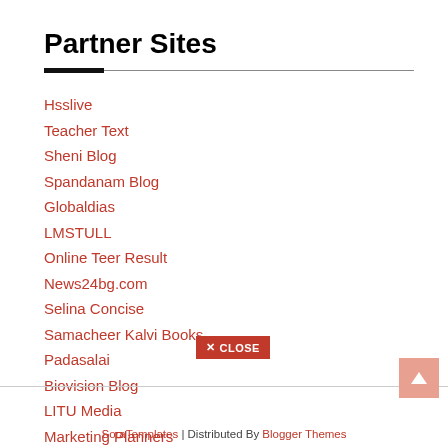Partner Sites
Hsslive
Teacher Text
Sheni Blog
Spandanam Blog
Globaldias
LMSTULL
Online Teer Result
News24bg.com
Selina Concise
Samacheer Kalvi Books
Padasalai
Biovision Blog
LITU Media
Marketing Planners
F95Zone
[Figure (other): Close button — red button with X CLOSE text]
[Figure (other): Scroll to top button — pink/salmon colored square with upward arrow]
SoraTemplates | Distributed By Blogger Themes